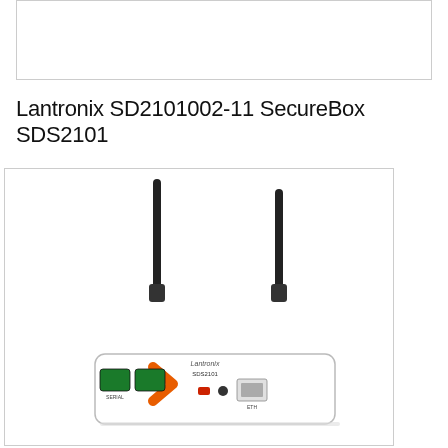[Figure (other): Empty white box with border at top of page]
Lantronix SD2101002-11 SecureBox SDS2101
[Figure (photo): Photo of Lantronix SecureBox SDS2101 device — a small white rectangular networking box with two black antennas, green serial ports, orange chevron logo, USB port, audio jack, and Ethernet port on the front panel.]